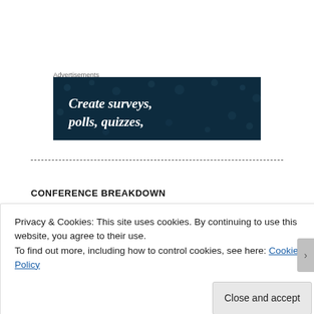Advertisements
[Figure (screenshot): Dark navy blue advertisement banner with white bold italic serif text reading 'Create surveys, polls, quizzes,' with decorative dot pattern background]
——————————————————————————————————————
CONFERENCE BREAKDOWN
Privacy & Cookies: This site uses cookies. By continuing to use this website, you agree to their use.
To find out more, including how to control cookies, see here: Cookie Policy
Close and accept